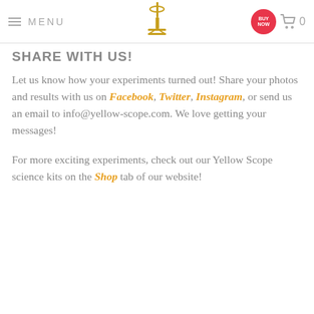MENU  [microscope logo]  BUY NOW  [cart] 0
SHARE WITH US!
Let us know how your experiments turned out! Share your photos and results with us on Facebook, Twitter, Instagram, or send us an email to info@yellow-scope.com. We love getting your messages!
For more exciting experiments, check out our Yellow Scope science kits on the Shop tab of our website!